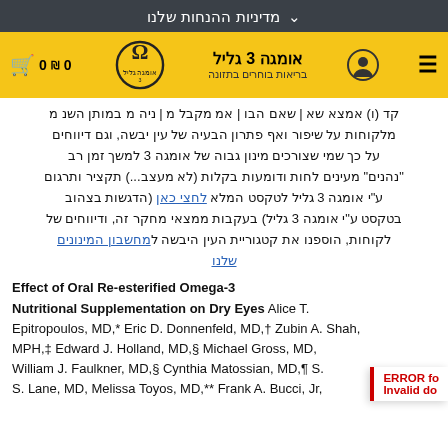מדיניות ההנחות שלנו
[Figure (logo): Omega 3 Galil logo and navigation bar with cart, user icon, hamburger menu]
מלקוחות על שיפור ואף פתרון הבעיה של עין יבשה, וגם דיווחים על כך שמי שצורכים מינון גבוה של אומגה 3 למשך זמן רב "נהנים" מעינים לחות ודומעות בקלות (לא מעצב...) תקציר ותרגום ע"י אומגה 3 גליל לטקסט המלא לחצי כאן (הדגשות בצהוב בטקסט ע"י אומגה 3 גליל) בעקבות ממצאי מחקר זה, ודיווחים של לקוחות, הוספנו את קטגוריית העין היבשה למחשבון המינונים שלנו
Effect of Oral Re-esterified Omega-3 Nutritional Supplementation on Dry Eyes Alice T. Epitropoulos, MD,* Eric D. Donnenfeld, MD,† Zubin A. Shah, MPH,‡ Edward J. Holland, MD,§ Michael Gross, MD, William J. Faulkner, MD,§ Cynthia Matossian, MD,¶ S. S. Lane, MD, Melissa Toyos, MD,** Frank A. Bucci, Jr,